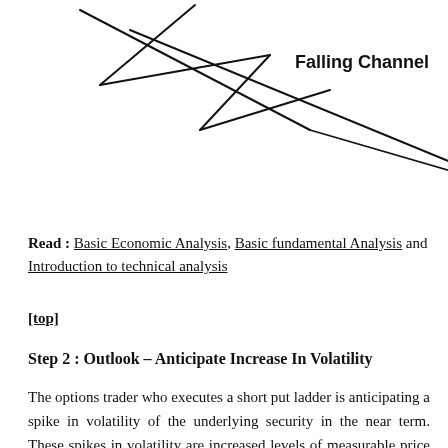[Figure (illustration): Hand-drawn diagram of a Falling Channel pattern showing converging downward trend lines forming a triangular/channel shape. Label 'Falling Channel' appears to the upper right in handwritten style font.]
Read : Basic Economic Analysis, Basic fundamental Analysis and Introduction to technical analysis
[top]
Step 2 : Outlook – Anticipate Increase In Volatility
The options trader who executes a short put ladder is anticipating a spike in volatility of the underlying security in the near term. These spikes in volatility are increased levels of measurable price movements of the underlying security. Preferably, the price of the underlying security should decrease.When that happens, the trader stands a